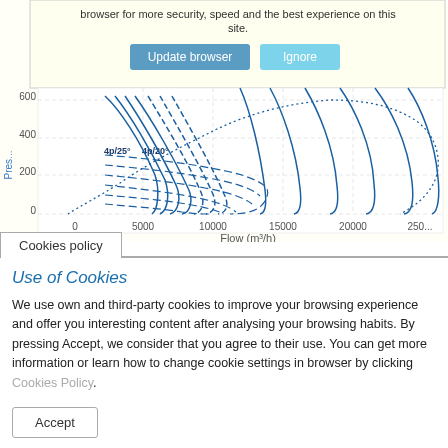[Figure (continuous-plot): Engineering performance curve chart showing Pressure (y-axis, 0-600+) vs Flow (m³/h) (x-axis, 0-25000+). Multiple blue curves of varying line styles (solid, dashed, dotted) labeled 4p/25° and 4p/20° fan curves.]
browser for more security, speed and the best experience on this site.
Use of Cookies
We use own and third-party cookies to improve your browsing experience and offer you interesting content after analysing your browsing habits. By pressing Accept, we consider that you agree to their use. You can get more information or learn how to change cookie settings in browser by clicking Cookies Policy.
Accept